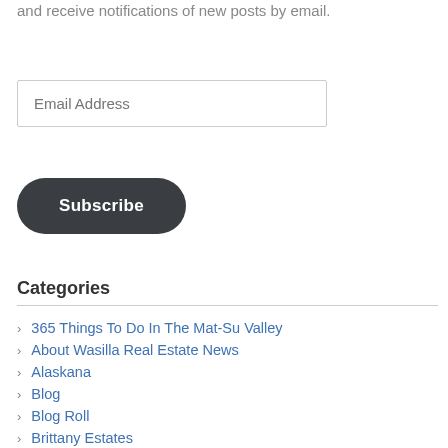and receive notifications of new posts by email.
Email Address
Subscribe
Categories
365 Things To Do In The Mat-Su Valley
About Wasilla Real Estate News
Alaskana
Blog
Blog Roll
Brittany Estates
Cedar Hills
Closing Costs
Commission Rates